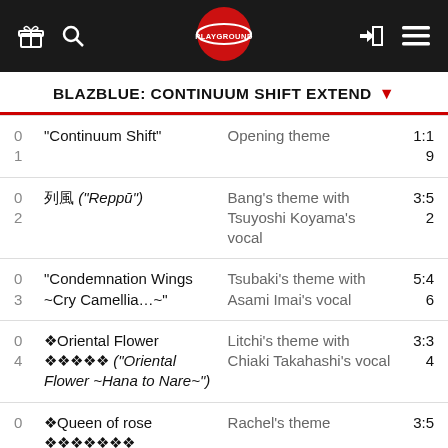PLAYGROUND navigation bar with logo
BLAZBLUE: CONTINUUM SHIFT EXTEND
| # | Title | Description | Time |
| --- | --- | --- | --- |
| 01 | “Continuum Shift” | Opening theme | 1:19 |
| 02 | 列風 (“Reppū”) | Bang’s theme with Tsuyoshi Koyama’s vocal | 3:52 |
| 03 | “Condemnation Wings ~Cry Camellia…~” | Tsubaki’s theme with Asami Imai’s vocal | 5:46 |
| 04 | 東方花 屋久久 (“Oriental Flower ~Hana to Nare~”) | Litchi’s theme with Chiaki Takahashi’s vocal | 3:34 |
| 05 | ❖Queen of rose ❖❖❖❖❖❖ | Rachel’s theme | 3:5 |